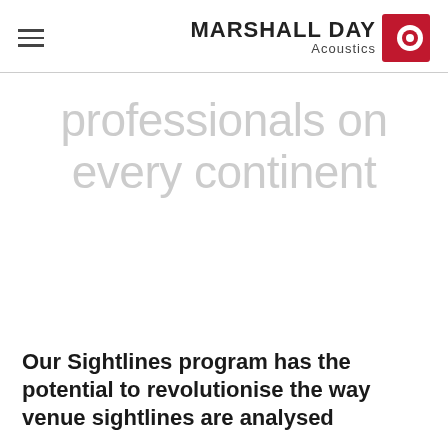MARSHALL DAY Acoustics
professionals on every continent
Our Sightlines program has the potential to revolutionise the way venue sightlines are analysed